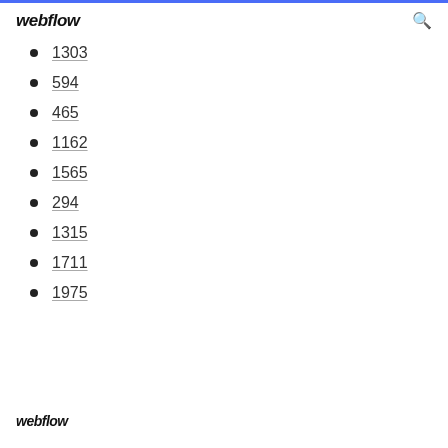webflow
1303
594
465
1162
1565
294
1315
1711
1975
webflow